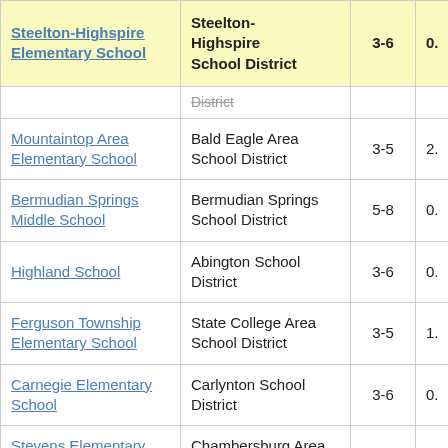| School | District | Grades | Value |
| --- | --- | --- | --- |
| Steelton-Highspire Elementary School | Steelton-Highspire School District | 3-6 | 0. |
| [District] (partial) |  |  |  |
| Mountaintop Area Elementary School | Bald Eagle Area School District | 3-5 | 2. |
| Bermudian Springs Middle School | Bermudian Springs School District | 5-8 | 0. |
| Highland School | Abington School District | 3-6 | 0. |
| Ferguson Township Elementary School | State College Area School District | 3-5 | 1. |
| Carnegie Elementary School | Carlynton School District | 3-6 | 0. |
| Stevens Elementary School | Chambersburg Area School District | 3-5 | 1. |